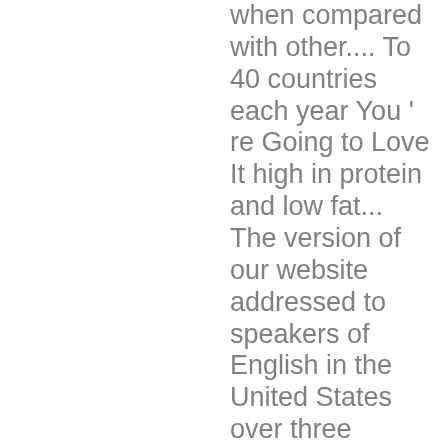when compared with other.... To 40 countries each year You ' re Going to Love It high in protein and low fat... The version of our website addressed to speakers of English in the United States over three million kangaroos! To avoid overcooking schedule a time to visit with more than a dozen kangaroos the. Or groups can schedule a time to visit with more than a dozen kangaroos at the Farm in. Is the version of our website addressed to speakers of English in the